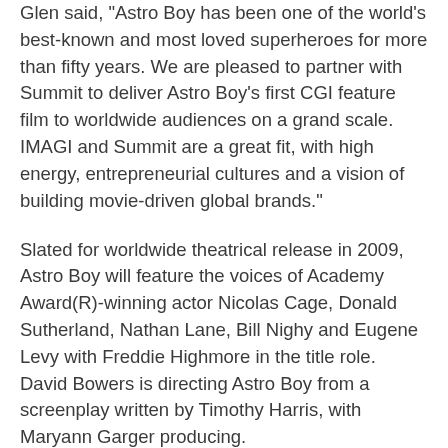Glen said, "Astro Boy has been one of the world's best-known and most loved superheroes for more than fifty years. We are pleased to partner with Summit to deliver Astro Boy's first CGI feature film to worldwide audiences on a grand scale. IMAGI and Summit are a great fit, with high energy, entrepreneurial cultures and a vision of building movie-driven global brands."
Slated for worldwide theatrical release in 2009, Astro Boy will feature the voices of Academy Award(R)-winning actor Nicolas Cage, Donald Sutherland, Nathan Lane, Bill Nighy and Eugene Levy with Freddie Highmore in the title role. David Bowers is directing Astro Boy from a screenplay written by Timothy Harris, with Maryann Garger producing.
Astro Boy was created by the "god of manga", Japan's Osamu Tezuka, in the early 1950s. The iconic character has since found wide popularity around the world as the hero of three acclaimed animated television series and as the star of